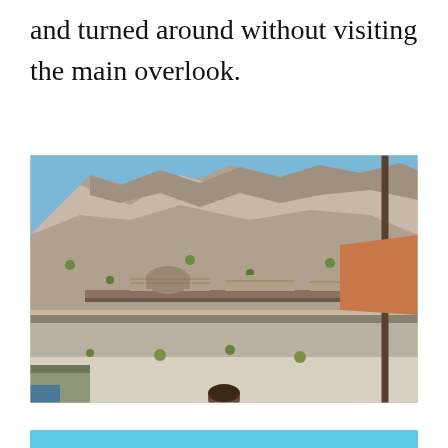and turned around without visiting the main overlook.
[Figure (photo): Outdoor photograph showing a rugged desert hillside/mountain with rocky terrain and sparse vegetation. In the middle ground, there are stone masonry walls and structures built into the hillside, suggesting ruins or historic site remains. A wooden utility pole is visible on the right side. In the foreground at the bottom edge, a person's head is partially visible, along with what appears to be a small blue structure on the lower left.]